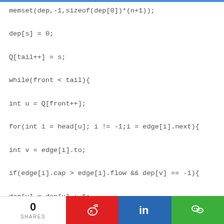memset(dep,-1,sizeof(dep[0])*(n+1));
dep[s] = 0;
Q[tail++] = s;
while(front < tail){
int u = Q[front++];
for(int i = head[u]; i != -1;i = edge[i].next){
int v = edge[i].to;
if(edge[i].cap > edge[i].flow && dep[v] == -1){
dep[v] = dep[u] + 1;
if(v == t)return true;
Q[tail++] = v;
}
}
}
0 SHARES